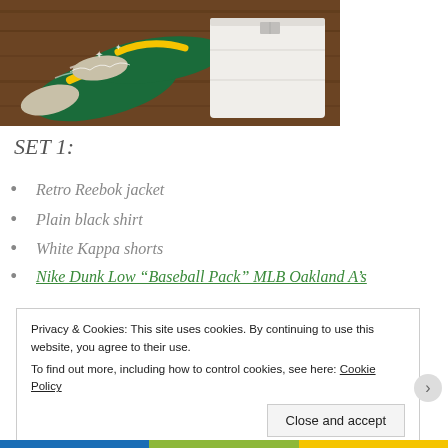[Figure (photo): Photo of green and white Nike Dunk Low sneakers with yellow swoosh beside a folded white clothing item, placed on a wooden surface]
SET 1:
Retro Reebok jacket
Plain black shirt
White Kappa shorts
Nike Dunk Low “Baseball Pack” MLB Oakland A’s
Privacy & Cookies: This site uses cookies. By continuing to use this website, you agree to their use.
To find out more, including how to control cookies, see here: Cookie Policy
Close and accept